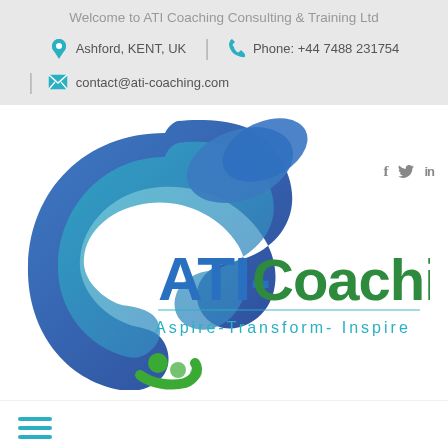Welcome to ATI Coaching Consulting & Training Ltd
Ashford, KENT, UK  |  Phone: +44 7488 231754
contact@ati-coaching.com
[Figure (logo): ATI-Coaching logo with swirling blue-green wave graphic and text 'ATI-Coaching' in blue and green, with tagline 'Aspire-Transform- Inspire']
f  in (social media icons)